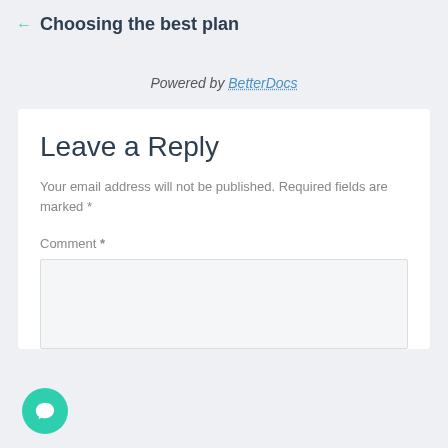← Choosing the best plan
Powered by BetterDocs
Leave a Reply
Your email address will not be published. Required fields are marked *
Comment *